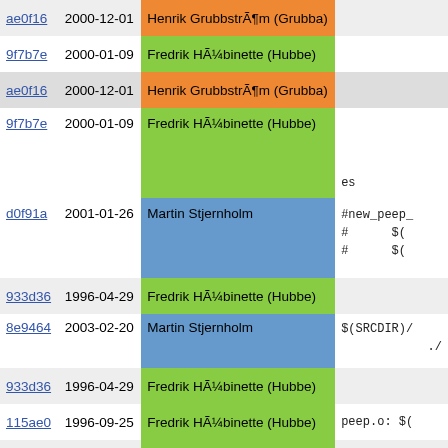| hash | date | author | code |
| --- | --- | --- | --- |
| ae0f16 | 2000-12-01 | Henrik GrubbstrÃ¶m (Grubba) |  |
| 9f7b7e | 2000-01-09 | Fredrik HÃ¼binette (Hubbe) |  |
| ae0f16 | 2000-12-01 | Henrik GrubbstrÃ¶m (Grubba) |  |
| 9f7b7e | 2000-01-09 | Fredrik HÃ¼binette (Hubbe) | es |
| d0f91a | 2001-01-26 | Martin Stjernholm | #new_peep_
#      $(
#      $( |
| 933d36 | 1996-04-29 | Fredrik HÃ¼binette (Hubbe) |  |
| 8e9464 | 2003-02-20 | Martin Stjernholm | $(SRCDIR)/
./ |
| 933d36 | 1996-04-29 | Fredrik HÃ¼binette (Hubbe) |  |
| 115ae0 | 1996-09-25 | Fredrik HÃ¼binette (Hubbe) | peep.o: $( |
| d8632c | 1996-05-04 | Fredrik HÃ¼binette (Hubbe) |  |
| 8e9464 | 2003-02-20 | Martin Stjernholm | $(SRCDIR)/
./ |
| de4a0c | 2003-02-08 | Henrik GrubbstrÃ¶m (Grubba) |  |
| 94d992 | 1999-03-20 | Henrik GrubbstrÃ¶m (Grubba) |  |